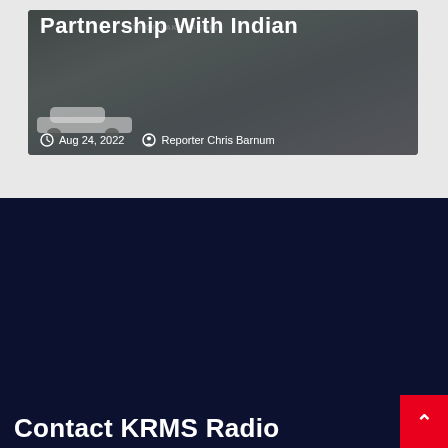[Figure (screenshot): News article card showing a building photo with title 'Partnership With Indian' and metadata showing Aug 24, 2022 and Reporter Chris Barnum]
Aug 24, 2022   Reporter Chris Barnum
[Figure (logo): KRMS Radio logo - stylized V shape in black with radiating gold/yellow lines on dark blue/slate background]
Contact KRMS Radio